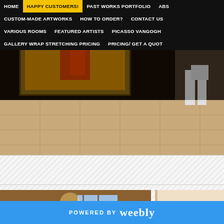HOME | HAPPY CUSTOMERS! | PAST WORKS PORTFOLIO | ABS... | CUSTOM-MADE ARTWORKS | HOW TO ORDER? | CONTACT US | VARIOUS ROOMS | FEATURED ARTISTS | PICASSO VANGOGH | GALLERY WRAP STRETCHING PRICING | PRICING/ GET A QUOT...
[Figure (photo): Photo of a room interior with a painting and a dog visible, warm tan tile floor]
[Figure (photo): Photo of a smiling person holding a colorful mosaic-style painting in a home interior]
[Figure (photo): Partial photo of a light-colored wall with artwork partially visible]
POWERED BY weebly